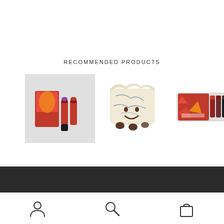RECOMMENDED PRODUCTS
[Figure (photo): Three product images: lipstick set with red packaging, plush cheese toy with smiley face, and another lipstick/cosmetic set in red packaging]
[Figure (illustration): Dark bottom navigation bar]
[Figure (illustration): Bottom navigation icons: person/account, search magnifier, shopping bag]